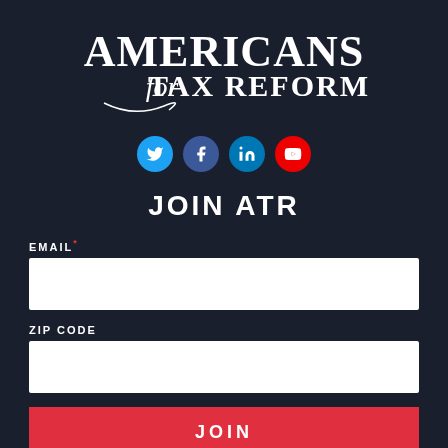[Figure (logo): Americans for Tax Reform logo — large serif text 'AMERICANS for TAX REFORM' in white on dark background]
[Figure (infographic): Social media icons: Twitter (blue), Facebook (dark blue), LinkedIn (blue), YouTube (red)]
JOIN ATR
EMAIL*
ZIP CODE
JOIN